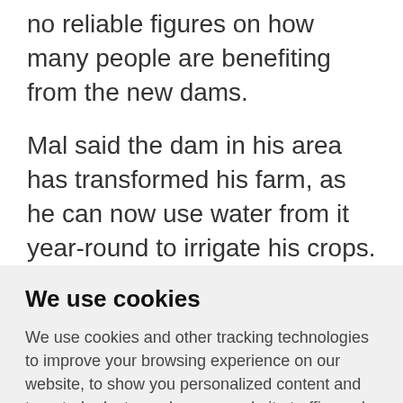no reliable figures on how many people are benefiting from the new dams.
Mal said the dam in his area has transformed his farm, as he can now use water from it year-round to irrigate his crops.
We use cookies
We use cookies and other tracking technologies to improve your browsing experience on our website, to show you personalized content and targeted ads, to analyze our website traffic, and to understand where our visitors are coming from.